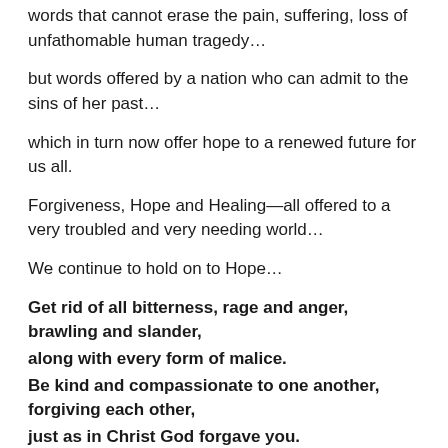words that cannot erase the pain, suffering, loss of unfathomable human tragedy…
but words offered by a nation who can admit to the sins of her past…
which in turn now offer hope to a renewed future for us all.
Forgiveness, Hope and Healing—all offered to a very troubled and very needing world…
We continue to hold on to Hope…
Get rid of all bitterness, rage and anger, brawling and slander, along with every form of malice. Be kind and compassionate to one another, forgiving each other, just as in Christ God forgave you.
Ephesians 4:31-32